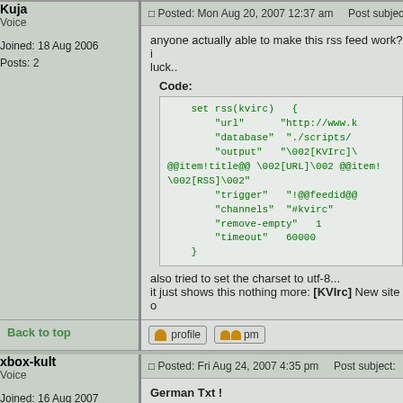Kuja
Voice
Joined: 18 Aug 2006
Posts: 2
Posted: Mon Aug 20, 2007 12:37 am    Post subject:
anyone actually able to make this rss feed work? i luck..
Code:
set rss(kvirc)   {
    "url"      "http://www.k
    "database"  "./scripts/
    "output"   "\002[KVIrc]\ @@item!title@@ \002[URL]\002 @@item!. \002[RSS]\002"
    "trigger"  "!@@feedid@@
    "channels"  "#kvirc"
    "remove-empty"   1
    "timeout"  60000
}
also tried to set the charset to utf-8...
it just shows this nothing more: [KVIrc] New site o
Back to top
xbox-kult
Voice
Joined: 16 Aug 2007
Posts: 11
Posted: Fri Aug 24, 2007 4:35 pm    Post subject:
German Txt !
Hallo,